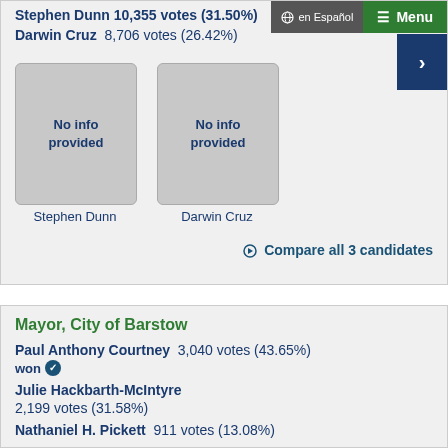Stephen Dunn  10,355 votes (31.50%)
Darwin Cruz  8,706 votes (26.42%)
[Figure (screenshot): Photo placeholder box labeled 'No info provided' for Stephen Dunn]
[Figure (screenshot): Photo placeholder box labeled 'No info provided' for Darwin Cruz]
Stephen Dunn
Darwin Cruz
Compare all 3 candidates
Mayor, City of Barstow
Paul Anthony Courtney  3,040 votes (43.65%) won
Julie Hackbarth-McIntyre  2,199 votes (31.58%)
Nathaniel H. Pickett  911 votes (13.08%)
More election results